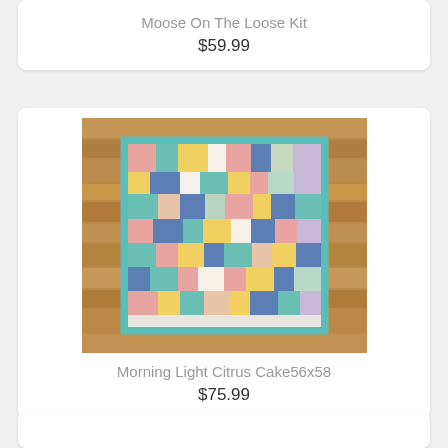Moose On The Loose Kit
$59.99
[Figure (photo): A colorful patchwork quilt laid on a wooden floor, photographed from above. The quilt features strips and blocks of fabric in teal, peach, yellow, navy blue, green, and grey patterns with a teal border.]
Morning Light Citrus Cake56x58
$75.99